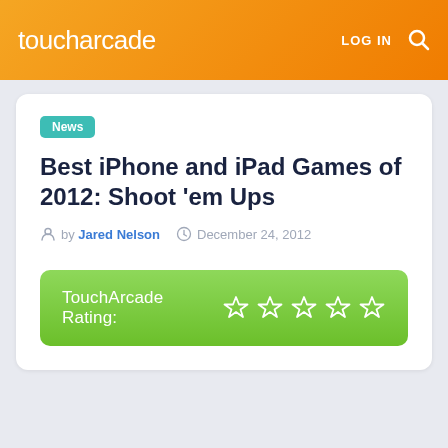toucharcade   LOG IN 🔍
News
Best iPhone and iPad Games of 2012: Shoot 'em Ups
by Jared Nelson   December 24, 2012
[Figure (infographic): TouchArcade Rating bar with 5 empty stars, green gradient background]